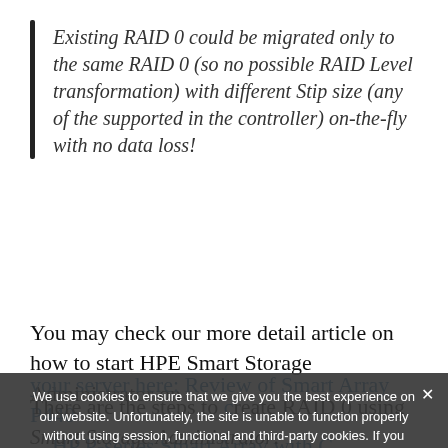Existing RAID 0 could be migrated only to the same RAID 0 (so no possible RAID Level transformation) with different Stip size (any of the supported in the controller) on-the-fly with no data loss!
You may check our more detail article on how to start HPE Smart Storage Administrator on your server here: Review of Smart Array P440 ... Create, Modify, delete array and view controller settings
We use cookies to ensure that we give you the best experience on our website. Unfortunately, the site is unable to function properly without using session, functional and third-party cookies. If you continue to use this site we will assume that you are happy with it or just close the page if you do not accept any cookies when viewing our site!
There are the steps to create RAID 0 using Smart Storage Administrator: